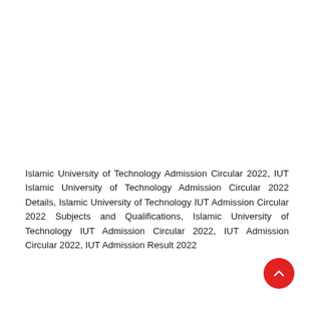Islamic University of Technology Admission Circular 2022, IUT Islamic University of Technology Admission Circular 2022 Details, Islamic University of Technology IUT Admission Circular 2022 Subjects and Qualifications, Islamic University of Technology IUT Admission Circular 2022, IUT Admission Circular 2022, IUT Admission Result 2022
[Figure (other): Red circular floating action button with upward chevron arrow]